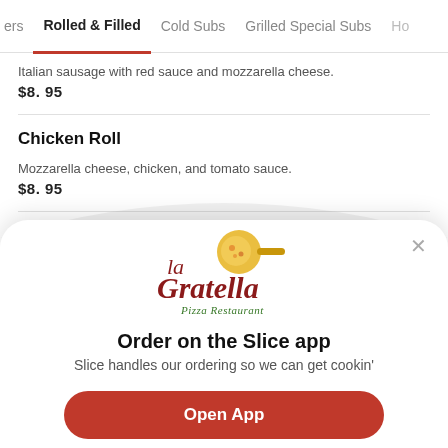ers | Rolled & Filled | Cold Subs | Grilled Special Subs | Ho
Italian sausage with red sauce and mozzarella cheese.
$8.95
Chicken Roll
Mozzarella cheese, chicken, and tomato sauce.
$8.95
Ch
[Figure (logo): La Gratella Pizza Restaurant logo with gold pizza pan and cursive script text]
Order on the Slice app
Slice handles our ordering so we can get cookin'
Open App